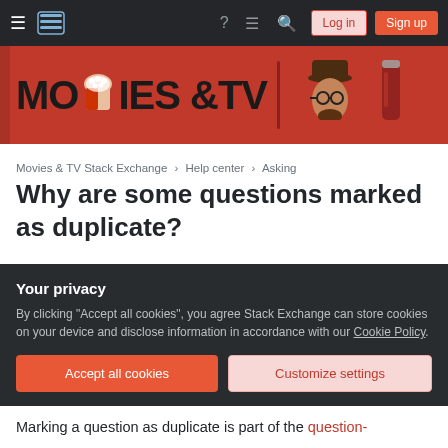Movies & TV Stack Exchange navigation bar with Log in and Sign up buttons
[Figure (illustration): Movies & TV Stack Exchange banner with bold text 'MOVIES & TV' on red background with illustrated characters]
Movies & TV Stack Exchange › Help center › Asking
Why are some questions marked as duplicate?
The fundamental goal of closing duplicate questions is to help people find the right answer by getting all of those
Your privacy
By clicking "Accept all cookies", you agree Stack Exchange can store cookies on your device and disclose information in accordance with our Cookie Policy.
Accept all cookies   Customize settings
Marking a question as duplicate is part of the question-